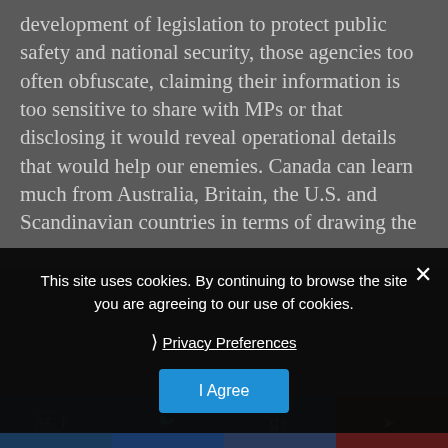development of legislation to protect public safety and national security, those agencies too often obfuscate, claiming their information is too sensitive to share with MPs or that disclosing it would reveal operational details that would help our enemies. Canada can learn much from Australia, Britain, the U.S. and Scandinavian countries in terms of drawing the
This site uses cookies. By continuing to browse the site you are agreeing to our use of cookies.
❯ Privacy Preferences
I Agree